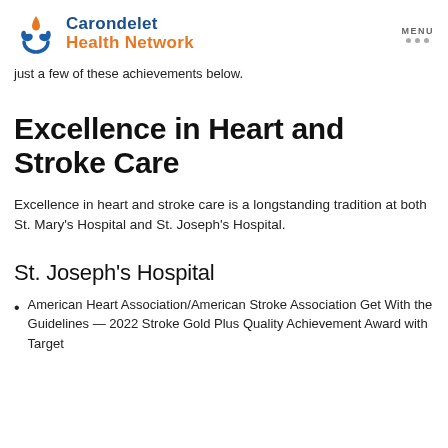Carondelet Health Network | MENU
just a few of these achievements below.
Excellence in Heart and Stroke Care
Excellence in heart and stroke care is a longstanding tradition at both St. Mary's Hospital and St. Joseph's Hospital.
St. Joseph's Hospital
American Heart Association/American Stroke Association Get With the Guidelines — 2022 Stroke Gold Plus Quality Achievement Award with Target